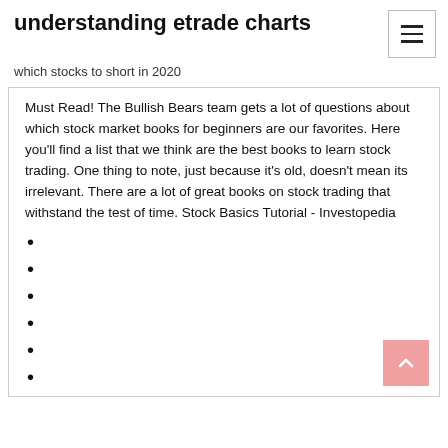understanding etrade charts
which stocks to short in 2020
Must Read! The Bullish Bears team gets a lot of questions about which stock market books for beginners are our favorites. Here you'll find a list that we think are the best books to learn stock trading. One thing to note, just because it's old, doesn't mean its irrelevant. There are a lot of great books on stock trading that withstand the test of time. Stock Basics Tutorial - Investopedia